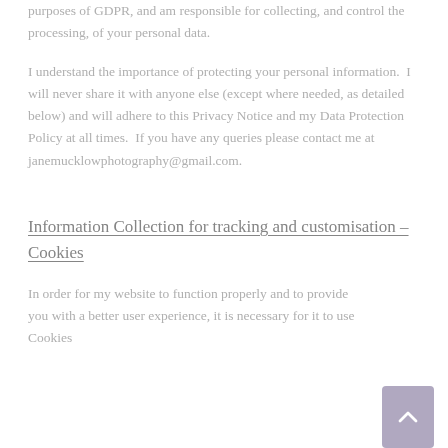purposes of GDPR, and am responsible for collecting, and control the processing, of your personal data.
I understand the importance of protecting your personal information. I will never share it with anyone else (except where needed, as detailed below) and will adhere to this Privacy Notice and my Data Protection Policy at all times. If you have any queries please contact me at janemucklowphotography@gmail.com.
Information Collection for tracking and customisation – Cookies
In order for my website to function properly and to provide you with a better user experience, it is necessary for it to use Cookies